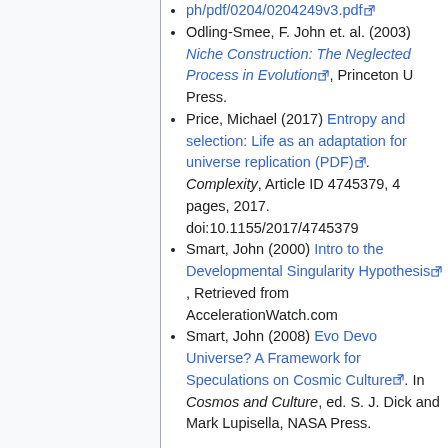ph/pdf/0204/0204249v3.pdf [external link]
Odling-Smee, F. John et. al. (2003) Niche Construction: The Neglected Process in Evolution [external link], Princeton U Press.
Price, Michael (2017) Entropy and selection: Life as an adaptation for universe replication (PDF) [external link]. Complexity, Article ID 4745379, 4 pages, 2017. doi:10.1155/2017/4745379
Smart, John (2000) Intro to the Developmental Singularity Hypothesis [external link], Retrieved from AccelerationWatch.com
Smart, John (2008) Evo Devo Universe? A Framework for Speculations on Cosmic Culture [external link]. In Cosmos and Culture, ed. S. J. Dick and Mark Lupisella, NASA Press.